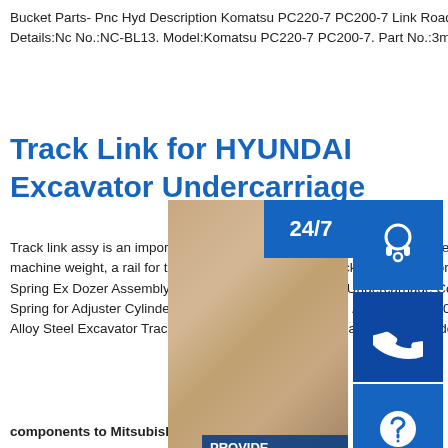Bucket Parts- Pnc Hyd Description Komatsu PC220-7 PC200-7 Link Road 3mm, Excavator Bucket Parts. Item Details:Nc No.:NC-BL13. Model:Komatsu PC220-7 PC200-7. Part No.:3mm
Track Link for HYUNDAI Excavator Undercarriage
Track link assy is an important part for bulldozer undercarriage, driven by the sprocket and fin support for the machine weight, a rail for the on. view more VOLVO Track Link Excavator Component Parts Track Tensioner Spring Ex Dozer Assembly For Excavator & Dozer Asse Undercarriage Component Parts Tension Spring Recoil Spring for Adjuster Cylinder . 1. Recoil Spring Advantage / Features PC300 / PC200 Excavator Bucket Linkage Alloy Steel Excavator Track Parts. Alloy Steel H Link Excavator And Bulldozer Parts With Yellow / Custom Color.
[Figure (photo): Customer service representative with headset, blue contact icons (headset, phone, Skype), 24/7 badge, PROVIDE Empowering Customers text, online live button]
components to Mitsubishi